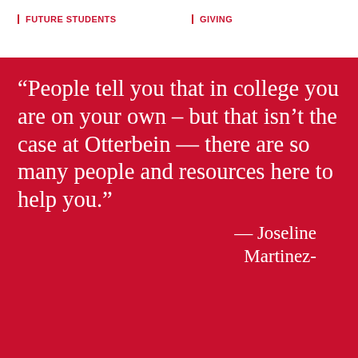FUTURE STUDENTS | GIVING
“People tell you that in college you are on your own – but that isn’t the case at Otterbein — there are so many people and resources here to help you.”
— Joseline Martinez-